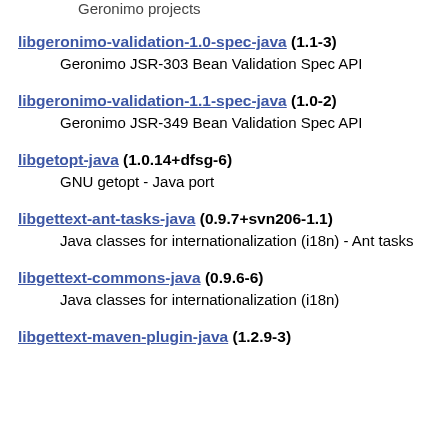Geronimo projects
libgeronimo-validation-1.0-spec-java (1.1-3)
Geronimo JSR-303 Bean Validation Spec API
libgeronimo-validation-1.1-spec-java (1.0-2)
Geronimo JSR-349 Bean Validation Spec API
libgetopt-java (1.0.14+dfsg-6)
GNU getopt - Java port
libgettext-ant-tasks-java (0.9.7+svn206-1.1)
Java classes for internationalization (i18n) - Ant tasks
libgettext-commons-java (0.9.6-6)
Java classes for internationalization (i18n)
libgettext-maven-plugin-java (1.2.9-3)